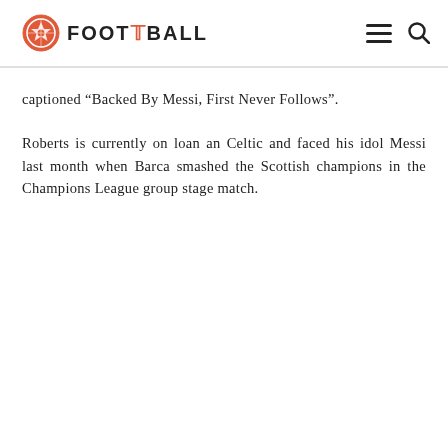FOOT THE BALL
captioned “Backed By Messi, First Never Follows”.
Roberts is currently on loan an Celtic and faced his idol Messi last month when Barca smashed the Scottish champions in the Champions League group stage match.